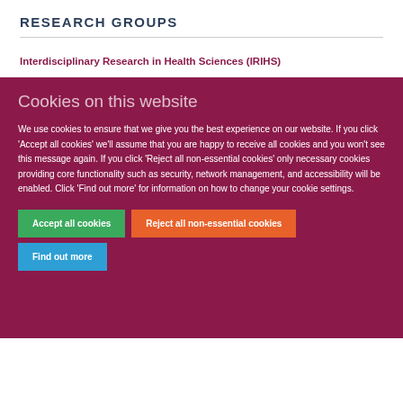RESEARCH GROUPS
Interdisciplinary Research in Health Sciences (IRIHS)
Cookies on this website
We use cookies to ensure that we give you the best experience on our website. If you click 'Accept all cookies' we'll assume that you are happy to receive all cookies and you won't see this message again. If you click 'Reject all non-essential cookies' only necessary cookies providing core functionality such as security, network management, and accessibility will be enabled. Click 'Find out more' for information on how to change your cookie settings.
Accept all cookies | Reject all non-essential cookies | Find out more